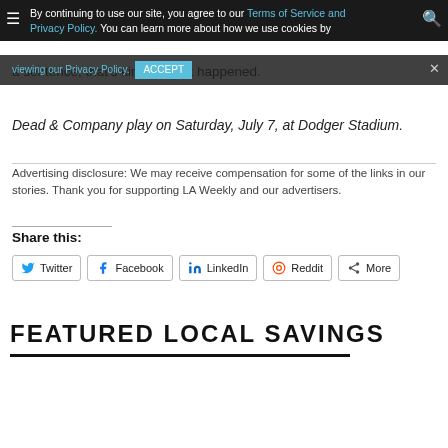By continuing to use our site, you agree to our Terms of Service and Privacy Policy. You can learn more about how we use cookies by
a sentence, that's kind of what happened.
Dead & Company play on Saturday, July 7, at Dodger Stadium.
Advertising disclosure: We may receive compensation for some of the links in our stories. Thank you for supporting LA Weekly and our advertisers.
Share this:
Twitter
Facebook
LinkedIn
Reddit
More
FEATURED LOCAL SAVINGS